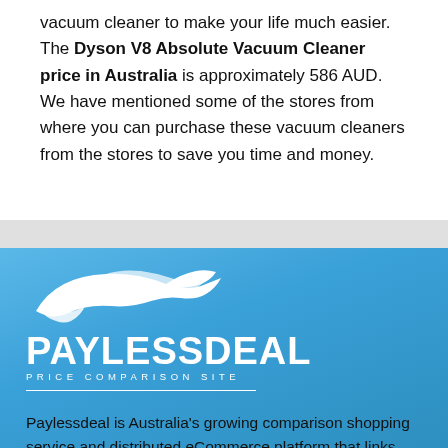vacuum cleaner to make your life much easier. The Dyson V8 Absolute Vacuum Cleaner price in Australia is approximately 586 AUD. We have mentioned some of the stores from where you can purchase these vacuum cleaners from the stores to save you time and money.
[Figure (logo): Paylessdeal logo with a white stylized bird/eagle above the wordmark 'PAYLESSDEAL' in large bold white text, with 'PRICE COMPARISON SITE' in smaller spaced white letters below, on a blue gradient background]
Paylessdeal is Australia's growing comparison shopping service and distributed eCommerce platform that links millions of shoppers every month with thousands of merchants.